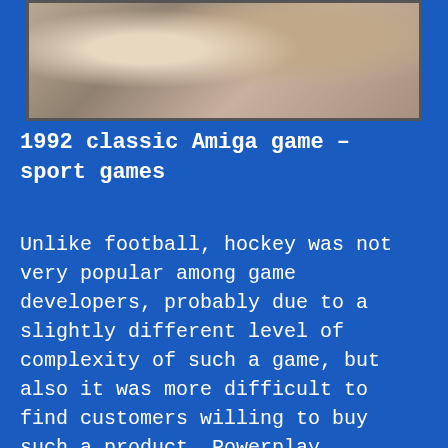[Figure (photo): Hockey game photograph showing players, partially cropped at top of page]
1992 classic Amiga game – sport games
Unlike football, hockey was not very popular among game developers, probably due to a slightly different level of complexity of such a game, but also it was more difficult to find customers willing to buy such a product. Powerplay